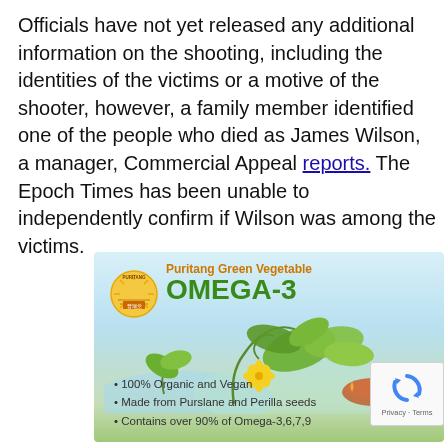Officials have not yet released any additional information on the shooting, including the identities of the victims or a motive of the shooter, however, a family member identified one of the people who died as James Wilson, a manager, Commercial Appeal reports. The Epoch Times has been unable to independently confirm if Wilson was among the victims.
[Figure (illustration): Advertisement for Puritang Green Vegetable Omega-3 supplement. Light blue/green background with plant imagery (green leaves and yellow flower, seeds). Bullet points: 100% Organic and Vegan, Made from Purslane and Perilla seeds, Contains over 90% of Omega-3,6,7,9. Puritang logo in top left corner.]